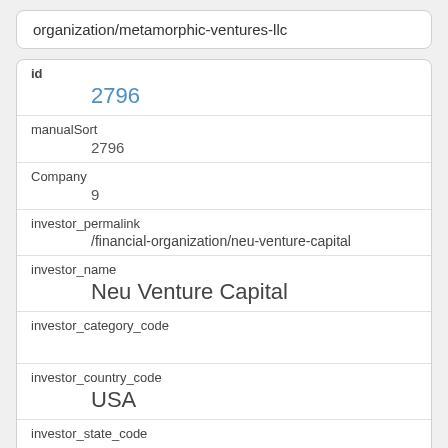organization/metamorphic-ventures-llc
id
2796
manualSort
2796
Company
9
investor_permalink
/financial-organization/neu-venture-capital
investor_name
Neu Venture Capital
investor_category_code
investor_country_code
USA
investor_state_code
NY
investor_region
New York